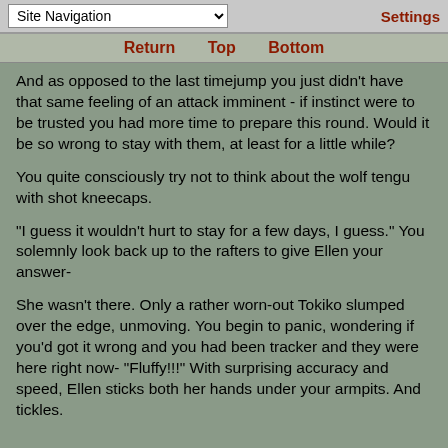Site Navigation | Settings
Return  Top  Bottom
And as opposed to the last timejump you just didn't have that same feeling of an attack imminent - if instinct were to be trusted you had more time to prepare this round. Would it be so wrong to stay with them, at least for a little while?
You quite consciously try not to think about the wolf tengu with shot kneecaps.
"I guess it wouldn't hurt to stay for a few days, I guess." You solemnly look back up to the rafters to give Ellen your answer-
She wasn't there. Only a rather worn-out Tokiko slumped over the edge, unmoving. You begin to panic, wondering if you'd got it wrong and you had been tracker and they were here right now- "Fluffy!!!" With surprising accuracy and speed, Ellen sticks both her hands under your armpits. And tickles.